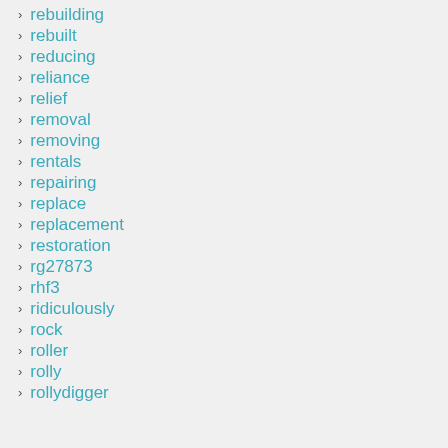rebuilding
rebuilt
reducing
reliance
relief
removal
removing
rentals
repairing
replace
replacement
restoration
rg27873
rhf3
ridiculously
rock
roller
rolly
rollydigger